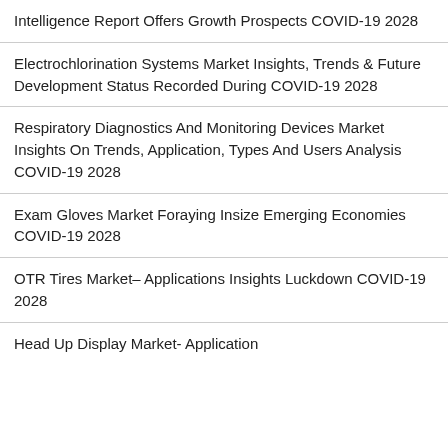Intelligence Report Offers Growth Prospects COVID-19 2028
Electrochlorination Systems Market Insights, Trends & Future Development Status Recorded During COVID-19 2028
Respiratory Diagnostics And Monitoring Devices Market Insights On Trends, Application, Types And Users Analysis COVID-19 2028
Exam Gloves Market Foraying Insize Emerging Economies COVID-19 2028
OTR Tires Market– Applications Insights Luckdown COVID-19 2028
Head Up Display Market- Application